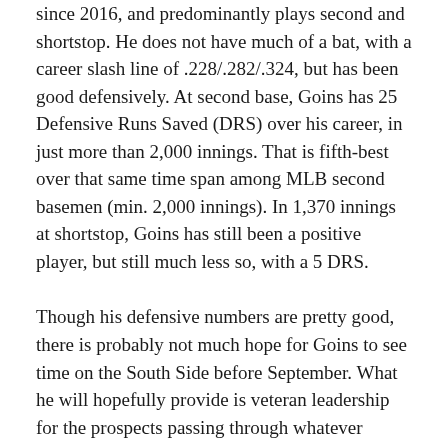since 2016, and predominantly plays second and shortstop. He does not have much of a bat, with a career slash line of .228/.282/.324, but has been good defensively. At second base, Goins has 25 Defensive Runs Saved (DRS) over his career, in just more than 2,000 innings. That is fifth-best over that same time span among MLB second basemen (min. 2,000 innings). In 1,370 innings at shortstop, Goins has still been a positive player, but still much less so, with a 5 DRS.
Though his defensive numbers are pretty good, there is probably not much hope for Goins to see time on the South Side before September. What he will hopefully provide is veteran leadership for the prospects passing through whatever MILB team Goins is on. He has been on two playoff teams with the Toronto Blue Jays (2015-16) and has experience to pass along in its time of...